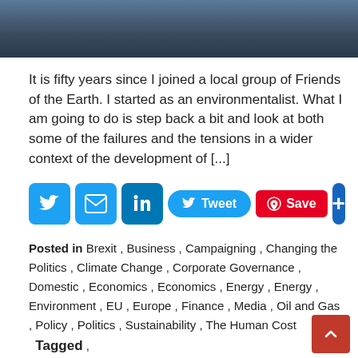[Figure (photo): Partial photo of a person against a dark blue/grey background, cropped at top of page]
It is fifty years since I joined a local group of Friends of the Earth. I started as an environmentalist. What I am going to do is step back a bit and look at both some of the failures and the tensions in a wider context of the development of [...]
[Figure (infographic): Social sharing buttons row: Twitter icon, Email icon, LinkedIn icon, Tweet button, Pinterest Save button, Plus button]
Posted in Brexit , Business , Campaigning , Changing the Politics , Climate Change , Corporate Governance , Domestic , Economics , Economics , Energy , Energy , Environment , EU , Europe , Finance , Media , Oil and Gas , Policy , Politics , Sustainability , The Human Cost   Tagged , Brexit budget climate action climate change climate crisis environment Environment Agency environmental environmental law environmental legislation environmental policy environmental regulation environmentalists EU Europe extreme weather failure freedom legislation media NGO PIEL